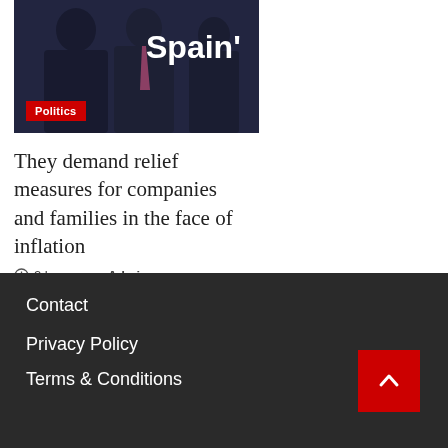[Figure (photo): Photo of politicians, with 'Spain' text overlay on a dark background]
Politics
They demand relief measures for companies and families in the face of inflation
2 hours ago  Admin
Contact
Privacy Policy
Terms & Conditions